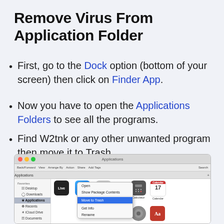Remove Virus From Application Folder
First, go to the Dock option (bottom of your screen) then click on Finder App.
Now you have to open the Applications Folders to see all the programs.
Find W2tnk or any other unwanted program then move it to Trash.
[Figure (screenshot): Mac Finder window showing Applications folder with a right-click context menu open on an app, with 'Move to Trash' option highlighted in blue. Sidebar shows Favorites including Desktop, Downloads, Applications, Recents, iCloud Drive, Documents.]